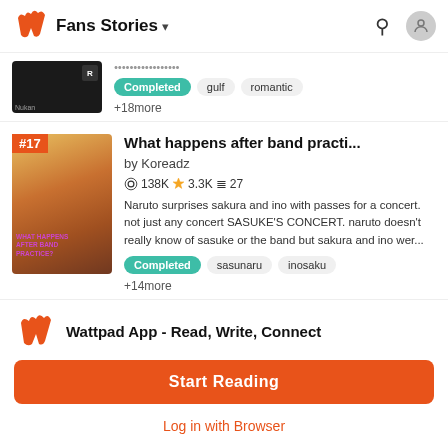Fans Stories
[Figure (screenshot): Partial story card with dark thumbnail, tags: Completed, gulf, romantic, +18 more]
[Figure (screenshot): Story card #17: What happens after band practi... by Koreadz, 138K views, 3.3K stars, 27 parts, cover image with anime characters]
Naruto surprises sakura and ino with passes for a concert. not just any concert SASUKE'S CONCERT. naruto doesn't really know of sasuke or the band but sakura and ino wer...
+14more
Wattpad App - Read, Write, Connect
Start Reading
Log in with Browser